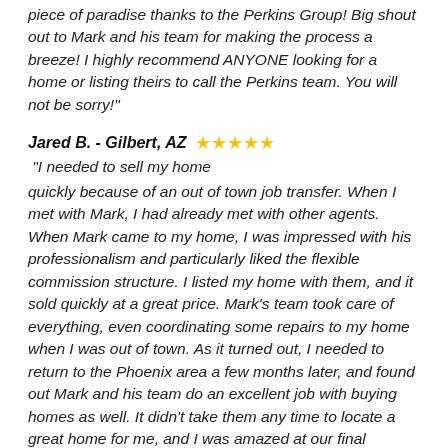piece of paradise thanks to the Perkins Group! Big shout out to Mark and his team for making the process a breeze! I highly recommend ANYONE looking for a home or listing theirs to call the Perkins team. You will not be sorry!"
Jared B. - Gilbert, AZ ★★★★★ "I needed to sell my home quickly because of an out of town job transfer. When I met with Mark, I had already met with other agents. When Mark came to my home, I was impressed with his professionalism and particularly liked the flexible commission structure. I listed my home with them, and it sold quickly at a great price. Mark's team took care of everything, even coordinating some repairs to my home when I was out of town. As it turned out, I needed to return to the Phoenix area a few months later, and found out Mark and his team do an excellent job with buying homes as well. It didn't take them any time to locate a great home for me, and I was amazed at our final negotiated price. I would highly